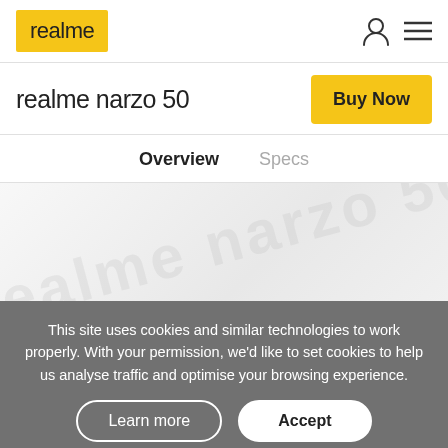realme
realme narzo 50
Overview   Specs
[Figure (illustration): Hero banner area with light grey background and faint watermark text]
This site uses cookies and similar technologies to work properly. With your permission, we'd like to set cookies to help us analyse traffic and optimise your browsing experience.
Learn more   Accept